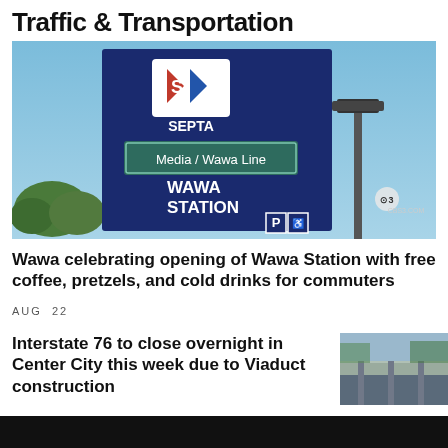Traffic & Transportation
[Figure (photo): SEPTA sign for Media/Wawa Line at Wawa Station, with a street light visible to the right and a CBS3 watermark. Blue sign board shows SEPTA logo, Media/Wawa Line green rectangle, and WAWA STATION text, with parking symbols at bottom.]
Wawa celebrating opening of Wawa Station with free coffee, pretzels, and cold drinks for commuters
AUG 22
Interstate 76 to close overnight in Center City this week due to Viaduct construction
[Figure (photo): Thumbnail photo of a highway overpass or viaduct construction scene.]